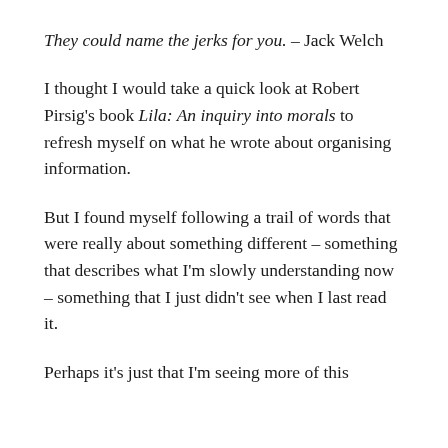They could name the jerks for you. – Jack Welch
I thought I would take a quick look at Robert Pirsig's book Lila: An inquiry into morals to refresh myself on what he wrote about organising information.
But I found myself following a trail of words that were really about something different – something that describes what I'm slowly understanding now – something that I just didn't see when I last read it.
Perhaps it's just that I'm seeing more of this